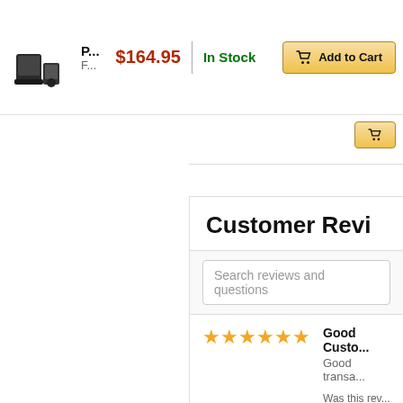[Figure (photo): Product thumbnail image of a phone/device docking station]
P...
F...
$164.95
In Stock
Add to Cart
Customer Revi...
Search reviews and questions
Good Custo... Good transa... Was this rev...
Amazing Amazing pro...